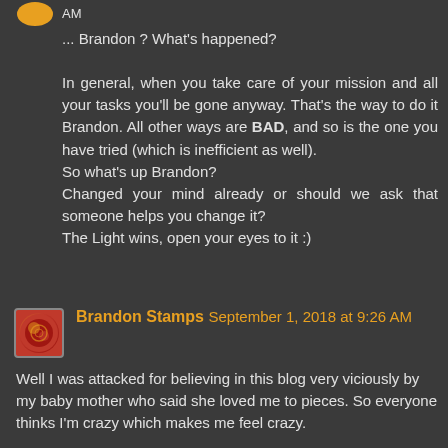... Brandon ? What's happened?
In general, when you take care of your mission and all your tasks you'll be gone anyway. That's the way to do it Brandon. All other ways are BAD, and so is the one you have tried (which is inefficient as well).
So what's up Brandon?
Changed your mind already or should we ask that someone helps you change it?
The Light wins, open your eyes to it :)
Brandon Stamps  September 1, 2018 at 9:26 AM
Well I was attacked for believing in this blog very viciously by my baby mother who said she loved me to pieces. So everyone thinks I'm crazy which makes me feel crazy.